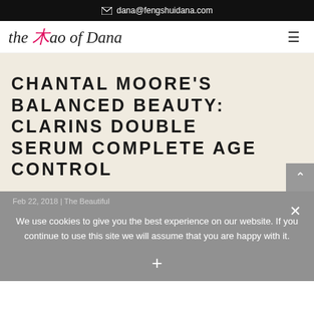dana@fengshuidana.com
[Figure (logo): The Tao of Dana logo in italic script with red Chinese character accent]
CHANTAL MOORE'S BALANCED BEAUTY: CLARINS DOUBLE SERUM COMPLETE AGE CONTROL
Feb 22, 2018 | The Beautiful
We use cookies to give you the best experience on our website. If you continue to use this site we will assume that you are happy with it.